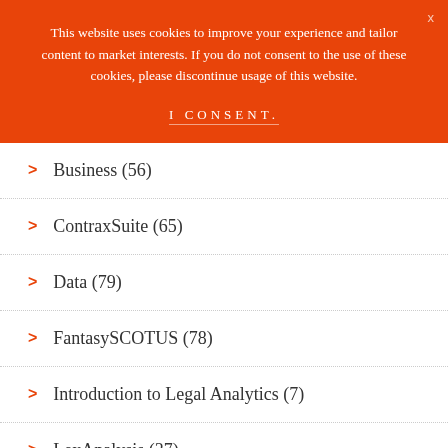This website uses cookies to improve your experience and tailor content to market interests. If you do not consent to the use of these cookies, please discontinue usage of this website.
I CONSENT.
Business (56)
ContraxSuite (65)
Data (79)
FantasySCOTUS (78)
Introduction to Legal Analytics (7)
LexAnalysis (37)